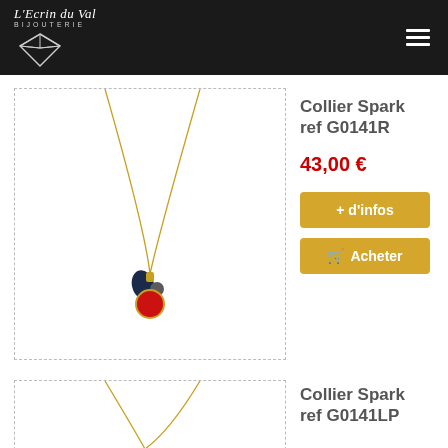L'Ecrin du Val BIJOUTERIE
[Figure (photo): Gold necklace with pendant featuring dark blue teardrop crystal, small gray round crystal, and red round crystal on gold chain]
Collier Spark ref G0141R
43,00 €
+ d'infos
Acheter
[Figure (photo): Gold necklace (partial view, top portion showing chain)]
Collier Spark ref G0141LP